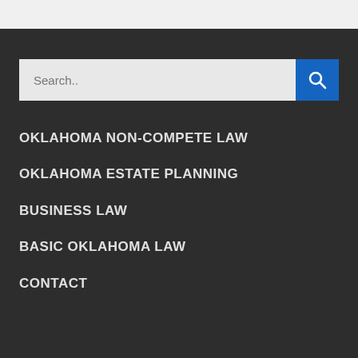OKLAHOMA NON-COMPETE LAW
OKLAHOMA ESTATE PLANNING
BUSINESS LAW
BASIC OKLAHOMA LAW
CONTACT